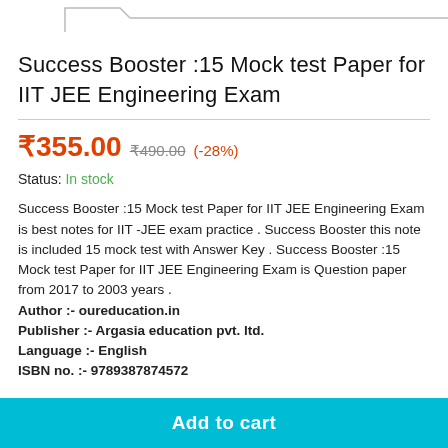[Figure (other): Top partial graphic element showing a tab/badge shape outline in gray on white background]
Success Booster :15 Mock test Paper for IIT JEE Engineering Exam
₹355.00  ₹490.00 (-28%)
Status: In stock
Success Booster :15 Mock test Paper for IIT JEE Engineering Exam is best notes for IIT -JEE exam practice . Success Booster this note is included 15 mock test with Answer Key . Success Booster :15 Mock test Paper for IIT JEE Engineering Exam is Question paper from 2017 to 2003 years .
Author :- oureducation.in
Publisher :- Argasia education pvt. ltd.
Language :- English
ISBN no. :- 9789387874572
Add to cart